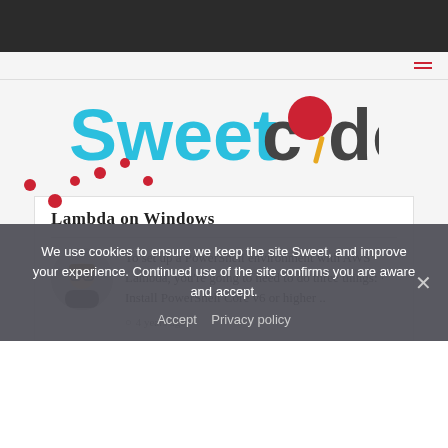[Figure (logo): SweetCode logo with pink/red lollipop icon replacing the letter 'o']
Lambda on Windows
To set up a PowerShell environment with AWS Lambda, you're going to need to do three things: · Install PowerShell Core v6 or higher ..
4 years ago
We use cookies to ensure we keep the site Sweet, and improve your experience. Continued use of the site confirms you are aware and accept.
Accept   Privacy policy